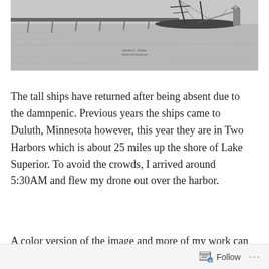[Figure (photo): Black and white aerial photograph of tall ships docked at a pier on a lake, with calm water and a lighthouse visible in the background. A watermark/credit is visible in the lower center of the image.]
The tall ships have returned after being absent due to the damnpenic. Previous years the ships came to Duluth, Minnesota however, this year they are in Two Harbors which is about 25 miles up the shore of Lake Superior. To avoid the crowds, I arrived around 5:30AM and flew my drone out over the harbor.
A color version of the image and more of my work can be
Follow ···